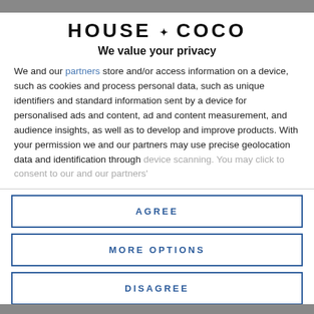[Figure (logo): House of Coco logo — stylized uppercase serif text]
We value your privacy
We and our partners store and/or access information on a device, such as cookies and process personal data, such as unique identifiers and standard information sent by a device for personalised ads and content, ad and content measurement, and audience insights, as well as to develop and improve products. With your permission we and our partners may use precise geolocation data and identification through device scanning. You may click to consent to our and our partners'
AGREE
MORE OPTIONS
DISAGREE